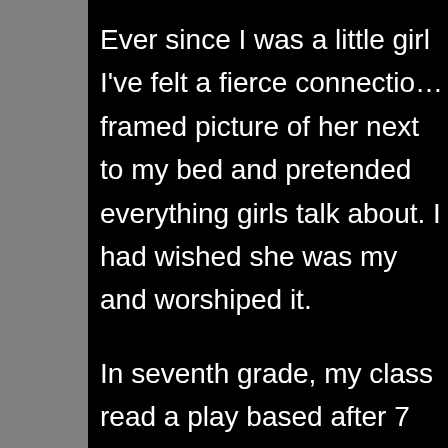Ever since I was a little girl I've felt a fierce connectio… framed picture of her next to my bed and pretended … everything girls talk about. I had wished she was my… and worshiped it.
In seventh grade, my class read a play based after 7… role of Anne. We had to read the same passage and… Deep down, I knew the part was for me and I gave it…
NOTE: At that time I was painfully shy.
Well, I won the part and felt I did it justice. On top of… having to make a comment from Mrs. Van Daan's Po… right into that; I lifted my right leg and ran my hand u…